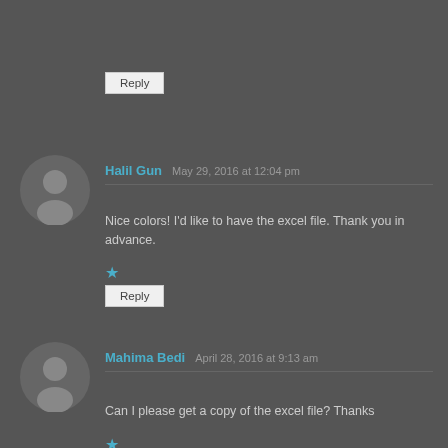Reply
Halil Gun  May 29, 2016 at 12:04 pm
Nice colors! I'd like to have the excel file. Thank you in advance.
★
Reply
Mahima Bedi  April 28, 2016 at 9:13 am
Can I please get a copy of the excel file? Thanks
★